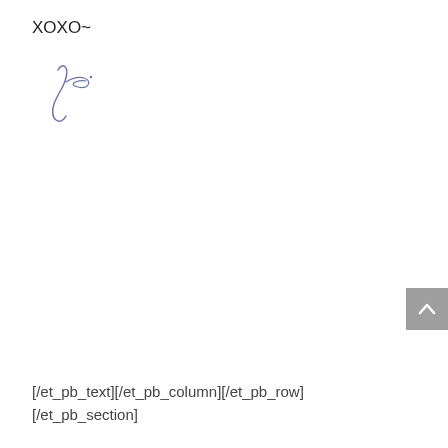XOXO~
[Figure (illustration): A handwritten cursive signature in blue-gray ink, appearing to start with 'J'.]
[Figure (other): Gray scroll-to-top button with an upward-pointing chevron arrow, positioned at the right edge of the page.]
[/et_pb_text][/et_pb_column][/et_pb_row]
[/et_pb_section]